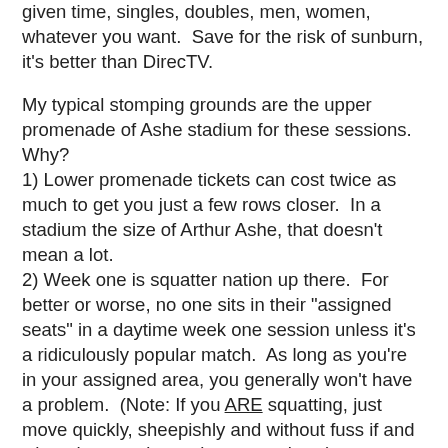given time, singles, doubles, men, women, whatever you want.  Save for the risk of sunburn, it's better than DirecTV.
My typical stomping grounds are the upper promenade of Ashe stadium for these sessions.  Why?
1) Lower promenade tickets can cost twice as much to get you just a few rows closer.  In a stadium the size of Arthur Ashe, that doesn't mean a lot.
2) Week one is squatter nation up there.  For better or worse, no one sits in their "assigned seats" in a daytime week one session unless it's a ridiculously popular match.  As long as you're in your assigned area, you generally won't have a problem.  (Note: If you ARE squatting, just move quickly, sheepishly and without fuss if and when the seats' actual owner arrives.)
3) Fans won't spend much time there.  I, for example, typically will pop in for a set of Serena, a bit of Rafa, a look at Nole and then head to the outer courts where I can get a lot closer to a lot of other players who shouldn't cruise through their early round matches.
One important thing to know if you're a veteran of other eries. The US Open is the ONLY series where a ticket t...